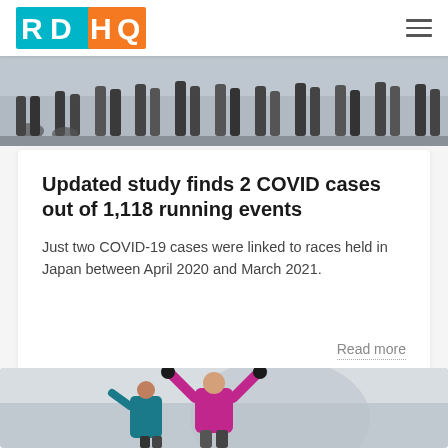RDHQ
[Figure (photo): Runners' feet and legs at the start of a road race, seen from ground level]
Updated study finds 2 COVID cases out of 1,118 running events
Just two COVID-19 cases were linked to races held in Japan between April 2020 and March 2021.
Read more
[Figure (photo): A woman in a pink jacket with arms raised in triumph at a running event finish line, with another runner behind her]